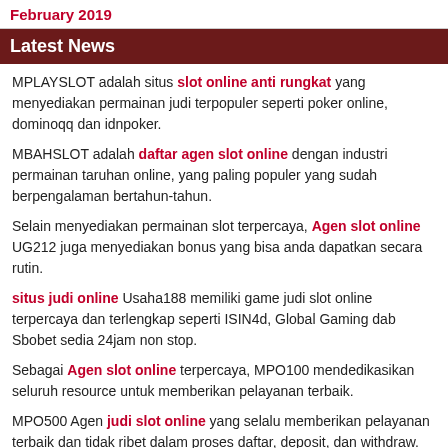February 2019
Latest News
MPLAYSLOT adalah situs slot online anti rungkat yang menyediakan permainan judi terpopuler seperti poker online, dominoqq dan idnpoker.
MBAHSLOT adalah daftar agen slot online dengan industri permainan taruhan online, yang paling populer yang sudah berpengalaman bertahun-tahun.
Selain menyediakan permainan slot terpercaya, Agen slot online UG212 juga menyediakan bonus yang bisa anda dapatkan secara rutin.
situs judi online Usaha188 memiliki game judi slot online terpercaya dan terlengkap seperti ISIN4d, Global Gaming dab Sbobet sedia 24jam non stop.
Sebagai Agen slot online terpercaya, MPO100 mendedikasikan seluruh resource untuk memberikan pelayanan terbaik.
MPO500 Agen judi slot online yang selalu memberikan pelayanan terbaik dan tidak ribet dalam proses daftar, deposit, dan withdraw.
Bagi anda yang tertarik menjadi member Agen Judi Online QQLucky8. Hal sederhana serta simple saja yang perlu anda persiapkan. Diantaranya seperti handphone android atau IOS.